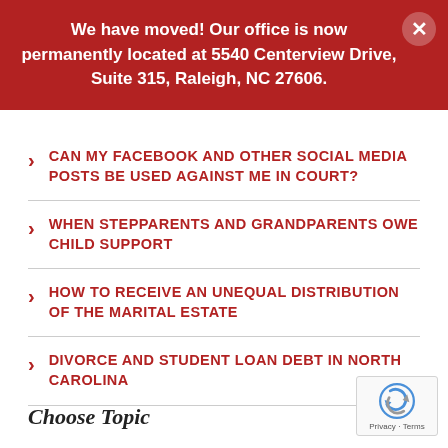We have moved! Our office is now permanently located at 5540 Centerview Drive, Suite 315, Raleigh, NC 27606.
CAN MY FACEBOOK AND OTHER SOCIAL MEDIA POSTS BE USED AGAINST ME IN COURT?
WHEN STEPPARENTS AND GRANDPARENTS OWE CHILD SUPPORT
HOW TO RECEIVE AN UNEQUAL DISTRIBUTION OF THE MARITAL ESTATE
DIVORCE AND STUDENT LOAN DEBT IN NORTH CAROLINA
Choose Topic